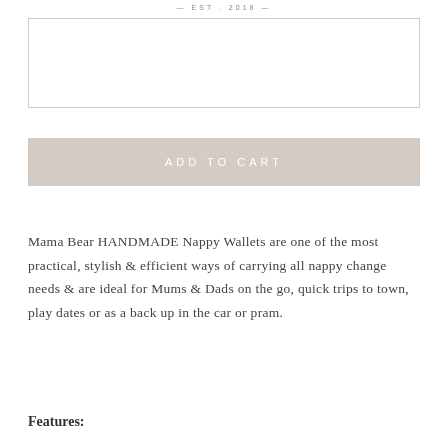— EST . 2018 —
[Figure (other): Text input textarea box with border and resize handle]
ADD TO CART
Mama Bear HANDMADE Nappy Wallets are one of the most practical, stylish & efficient ways of carrying all nappy change needs & are ideal for Mums & Dads on the go, quick trips to town, play dates or as a back up in the car or pram.
Features: